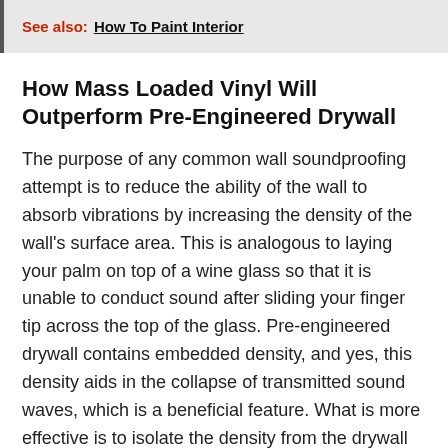See also:  How To Paint Interior
How Mass Loaded Vinyl Will Outperform Pre-Engineered Drywall
The purpose of any common wall soundproofing attempt is to reduce the ability of the wall to absorb vibrations by increasing the density of the wall's surface area. This is analogous to laying your palm on top of a wine glass so that it is unable to conduct sound after sliding your finger tip across the top of the glass. Pre-engineered drywall contains embedded density, and yes, this density aids in the collapse of transmitted sound waves, which is a beneficial feature. What is more effective is to isolate the density from the drywall